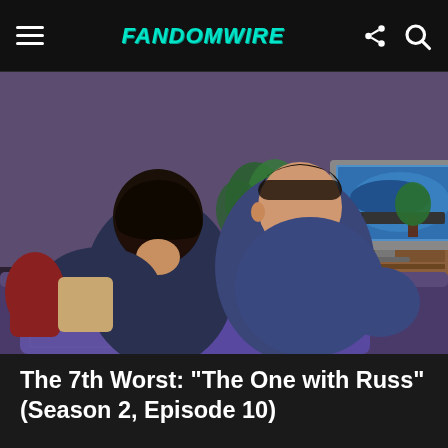FandomWire
[Figure (photo): Two people seen from behind sitting on a couch watching a CRT television in a purple-walled apartment room, reminiscent of the Friends TV show set.]
The 7th Worst: “The One with Russ” (Season 2, Episode 10)